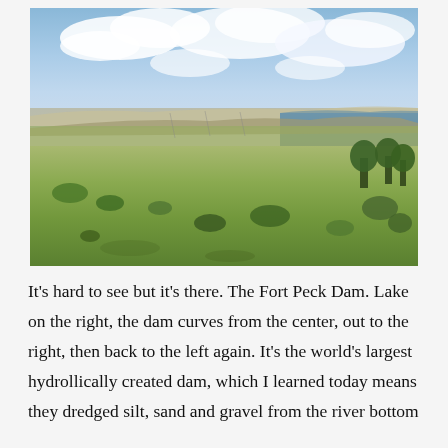[Figure (photo): Landscape photograph showing Fort Peck Dam area in Montana. Foreground shows green rolling grassland with scattered shrubs. Middle ground shows the dam structure curving from center-left to right. A lake is visible on the right side. Background shows distant hills and bluffs under a partly cloudy sky with large white cumulus clouds.]
It's hard to see but it's there. The Fort Peck Dam. Lake on the right, the dam curves from the center, out to the right, then back to the left again. It's the world's largest hydrollically created dam, which I learned today means they dredged silt, sand and gravel from the river bottom